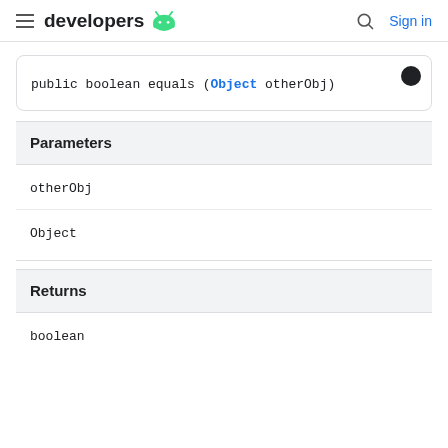developers  Sign in
Parameters
otherObj
Object
Returns
boolean